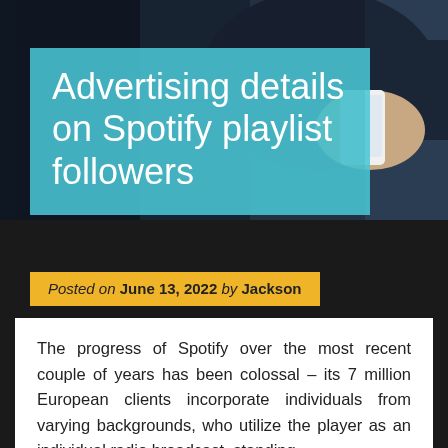[Figure (photo): Background photo showing a person in dark clothing holding a white smartphone, viewed from above/side angle. The image is partially obscured by overlaid title box.]
Advertising details on Spotify playlist followers
Posted on June 13, 2022 by Jackson
The progress of Spotify over the most recent couple of years has been colossal – its 7 million European clients incorporate individuals from varying backgrounds, who utilize the player as an individual radio broadcast, standing